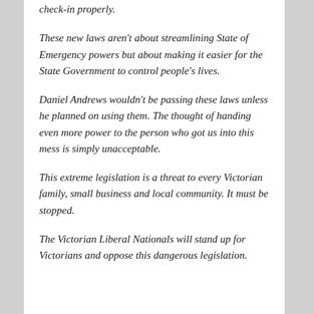check-in properly.
These new laws aren't about streamlining State of Emergency powers but about making it easier for the State Government to control people's lives.
Daniel Andrews wouldn't be passing these laws unless he planned on using them. The thought of handing even more power to the person who got us into this mess is simply unacceptable.
This extreme legislation is a threat to every Victorian family, small business and local community. It must be stopped.
The Victorian Liberal Nationals will stand up for Victorians and oppose this dangerous legislation.